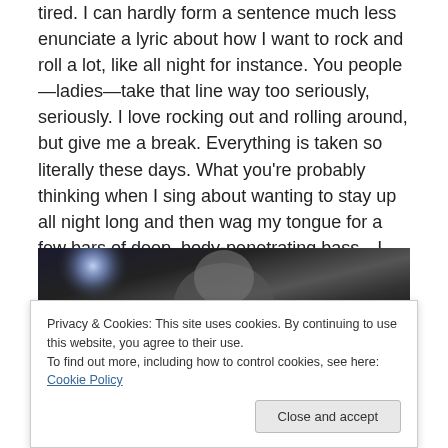tired. I can hardly form a sentence much less enunciate a lyric about how I want to rock and roll a lot, like all night for instance. You people—ladies—take that line way too seriously, seriously. I love rocking out and rolling around, but give me a break. Everything is taken so literally these days. What you're probably thinking when I sing about wanting to stay up all night long and then wag my tongue for a few bars of deep, body-penetrating bass—I can't even imagine. Gross.
[Figure (photo): Dark concert photo showing a performer on stage with bright stage lighting from above]
Privacy & Cookies: This site uses cookies. By continuing to use this website, you agree to their use.
To find out more, including how to control cookies, see here: Cookie Policy
Close and accept
[Figure (photo): Dark photo showing a person with a guitar, partial view at bottom of page]